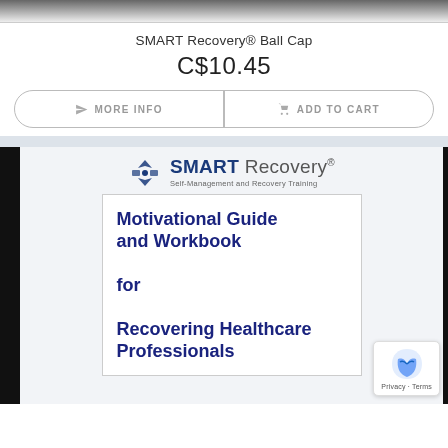[Figure (photo): Top strip showing bottom edge of a product image (ball cap), dark background fading to white]
SMART Recovery® Ball Cap
C$10.45
MORE INFO | ADD TO CART
[Figure (photo): Book product image showing SMART Recovery logo and Motivational Guide and Workbook for Recovering Healthcare Professionals cover]
Privacy · Terms